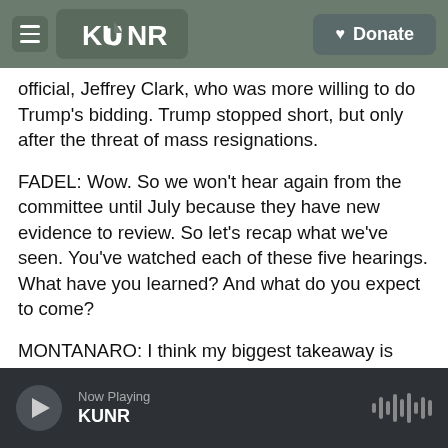KUNR | Donate
official, Jeffrey Clark, who was more willing to do Trump's bidding. Trump stopped short, but only after the threat of mass resignations.
FADEL: Wow. So we won't hear again from the committee until July because they have new evidence to review. So let's recap what we've seen. You've watched each of these five hearings. What have you learned? And what do you expect to come?
MONTANARO: I think my biggest takeaway is that, really, no one was off-limits. No one was immune from Trump's pressure campaign, whether it was
Now Playing KUNR